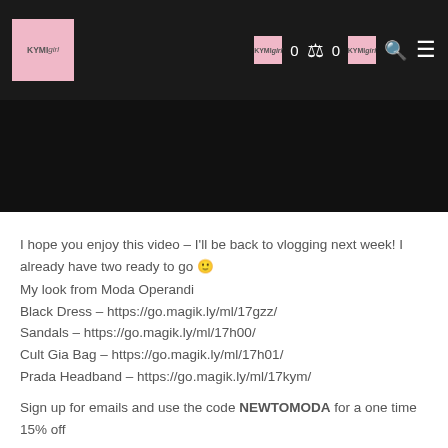KYMI logo navigation with icons: 0, cart 0, icon, search, menu
[Figure (screenshot): Dark background banner/video area]
I hope you enjoy this video – I'll be back to vlogging next week! I already have two ready to go 🙂
My look from Moda Operandi
Black Dress – https://go.magik.ly/ml/17gzz/
Sandals – https://go.magik.ly/ml/17h00/
Cult Gia Bag – https://go.magik.ly/ml/17h01/
Prada Headband – https://go.magik.ly/ml/17kym/

Sign up for emails and use the code NEWTOMODA for a one time 15% off